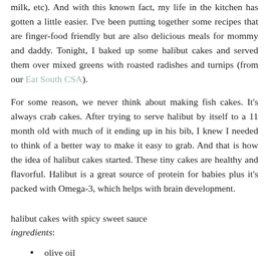milk, etc). And with this known fact, my life in the kitchen has gotten a little easier. I've been putting together some recipes that are finger-food friendly but are also delicious meals for mommy and daddy. Tonight, I baked up some halibut cakes and served them over mixed greens with roasted radishes and turnips (from our Eat South CSA).
For some reason, we never think about making fish cakes. It's always crab cakes. After trying to serve halibut by itself to a 11 month old with much of it ending up in his bib, I knew I needed to think of a better way to make it easy to grab. And that is how the idea of halibut cakes started. These tiny cakes are healthy and flavorful. Halibut is a great source of protein for babies plus it's packed with Omega-3, which helps with brain development.
halibut cakes with spicy sweet sauce
ingredients:
olive oil
1lb wild halibut
1 bunch green elephant garlic (or leeks), chopped finely